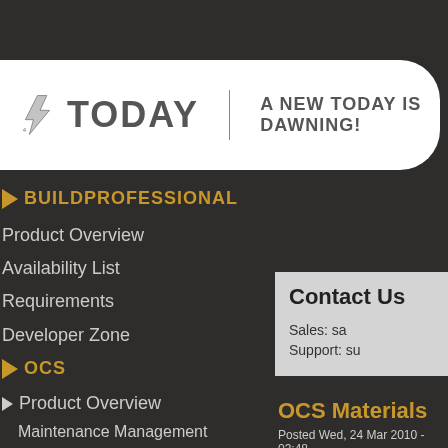TODAY — A NEW TODAY IS DAWNING!
BUILDPROFESSIONAL
Product Overview
Availability List
Requirements
Developer Zone
OCS
Product Overview
Maintenance Management
Materials Management
Contact Us
Sales: sa
Support: su
OCS Materials
Posted Wed, 24 Mar 2010 - 03:48